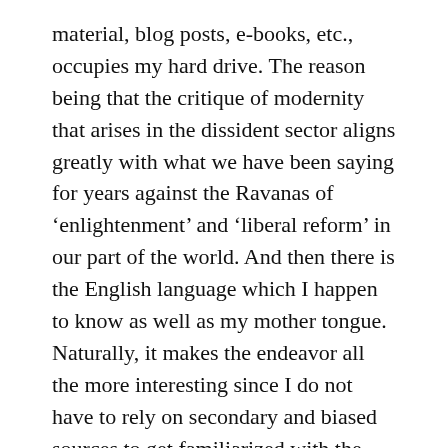material, blog posts, e-books, etc., occupies my hard drive. The reason being that the critique of modernity that arises in the dissident sector aligns greatly with what we have been saying for years against the Ravanas of ‘enlightenment’ and ‘liberal reform’ in our part of the world. And then there is the English language which I happen to know as well as my mother tongue. Naturally, it makes the endeavor all the more interesting since I do not have to rely on secondary and biased sources to get familiarized with the subject at hand.
Our contact with the Western White races during the colonial era incubated an army of native ‘social reformers’, ‘rationalists’, ‘modernists’, etc.